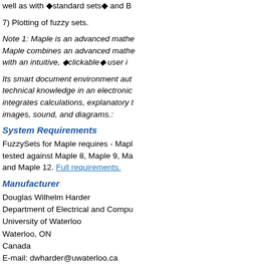well as with ◆standard sets◆ and B
7) Plotting of fuzzy sets.
Note 1: Maple is an advanced mathe... Maple combines an advanced mathe... with an intuitive, ◆clickable◆ user i...
Its smart document environment aut... technical knowledge in an electronic... integrates calculations, explanatory t... images, sound, and diagrams.:
System Requirements
FuzzySets for Maple requires - Mapl... tested against Maple 8, Maple 9, Ma... and Maple 12. Full requirements.
Manufacturer
Douglas Wilhelm Harder
Department of Electrical and Compu...
University of Waterloo
Waterloo, ON
Canada
E-mail: dwharder@uwaterloo.ca
Manufacturer Web Site FuzzySets f...
Price Contact manufacturer.
G6G Abstract Number 20559